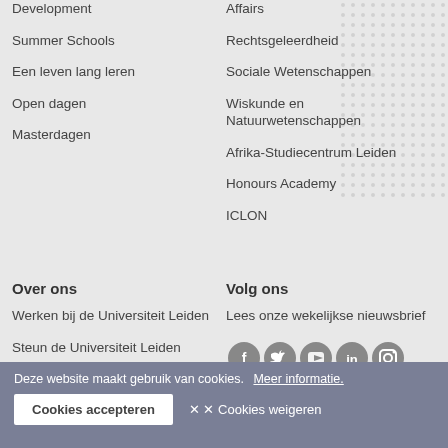Development
Summer Schools
Een leven lang leren
Open dagen
Masterdagen
Affairs
Rechtsgeleerdheid
Sociale Wetenschappen
Wiskunde en Natuurwetenschappen
Afrika-Studiecentrum Leiden
Honours Academy
ICLON
Over ons
Werken bij de Universiteit Leiden
Steun de Universiteit Leiden
Alumni
Volg ons
Lees onze wekelijkse nieuwsbrief
[Figure (infographic): Five social media icons (Facebook, Twitter, YouTube, LinkedIn, Instagram) as grey circles]
Deze website maakt gebruik van cookies. Meer informatie.
Cookies accepteren
✕ Cookies weigeren